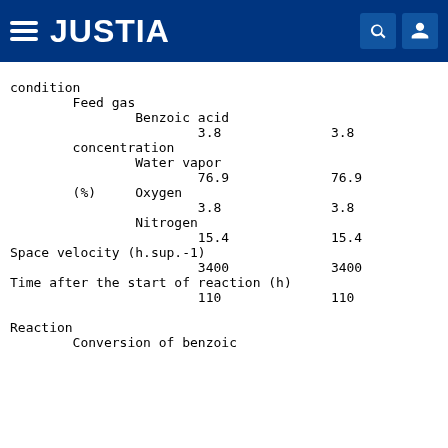JUSTIA
condition
        Feed gas
                Benzoic acid
                        3.8              3.8
        concentration
                Water vapor
                        76.9             76.9
        (%)     Oxygen
                        3.8              3.8
                Nitrogen
                        15.4             15.4
        Space velocity (h.sup.-1)
                        3400             3400
        Time after the start of reaction (h)
                        110              110
        Reaction
                Conversion of benzoic